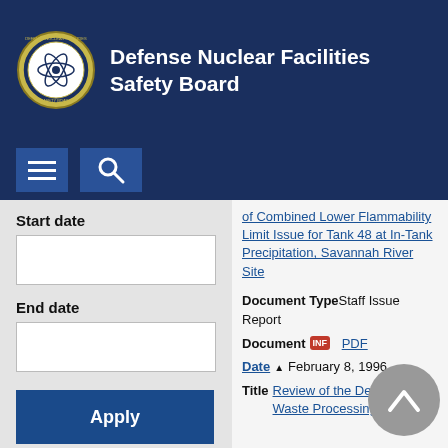Defense Nuclear Facilities Safety Board
of Combined Lower Flammability Limit Issue for Tank 48 at In-Tank Precipitation, Savannah River Site
Document Type: Staff Issue Report
Document: INF  PDF
Date: February 8, 1996
Title: Review of the Defense Waste Processing Facility
Start date
End date
Type